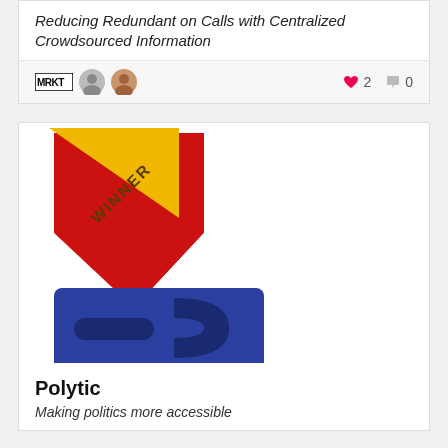Reducing Redundant on Calls with Centralized Crowdsourced Information
[Figure (infographic): Card meta row with MRKT logo, two avatars, heart icon with count 2, comment icon with count 0]
[Figure (illustration): Winner badge with geometric red and blue shapes forming a logo. Yellow diagonal banner in top-left corner with WINNER text.]
Polytic
Making politics more accessible